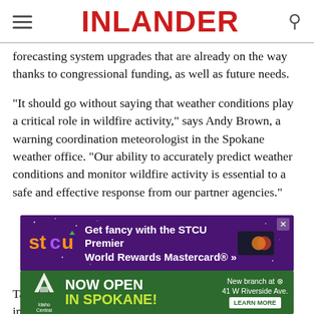INLANDER
forecasting system upgrades that are already on the way thanks to congressional funding, as well as future needs.
"It should go without saying that weather conditions play a critical role in wildfire activity," says Andy Brown, a warning coordination meteorologist in the Spokane weather office. "Our ability to accurately predict weather conditions and monitor wildfire activity is essential to a safe and effective response from our partner agencies."
[Figure (other): STCU advertisement: Get fancy with the STCU Premier World Rewards Mastercard®]
Taking the podium, Cantwell highlights important investments that
[Figure (other): Idaho Central Credit Union advertisement: NOW OPEN IN SPOKANE! New branch at 41 W Riverside Ave. LEARN MORE]